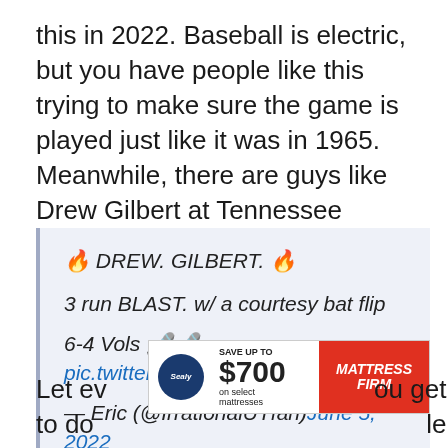this in 2022. Baseball is electric, but you have people like this trying to make sure the game is played just like it was in 1965. Meanwhile, there are guys like Drew Gilbert at Tennessee taking 10 seconds to get to first base and throwing the bat 40 feet in the air.
🔥 DREW. GILBERT. 🔥

3 run BLAST. w/ a courtesy bat flip

6-4 Vols 🎤🎤pic.twitter.com/DzHqprUwZz

— Eric (@IrrationalUTfan)June 5, 2022
[Figure (other): Advertisement banner: Sealy logo, SAVE UP TO $700 on select mattresses, Mattress Firm logo]
Let ev... ou get to do ... le.